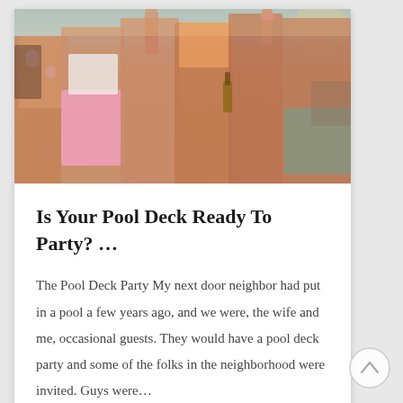[Figure (photo): Photograph of people in swimwear at a pool party, some holding drinks, taken from mid-body level]
Is Your Pool Deck Ready To Party? …
The Pool Deck Party My next door neighbor had put in a pool a few years ago, and we were, the wife and me, occasional guests. They would have a pool deck party and some of the folks in the neighborhood were invited. Guys were…